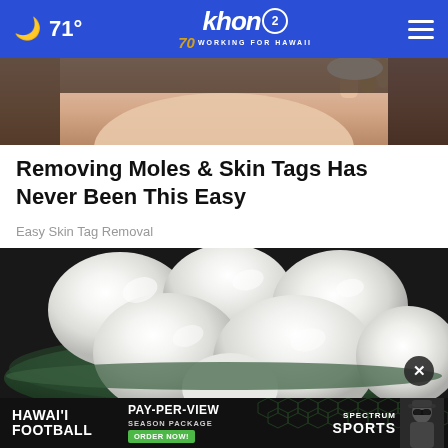🌙 71° khon2 WORKING FOR HAWAII
[Figure (photo): Partial face photo visible at top, cropped]
Removing Moles & Skin Tags Has Never Been This Easy
Easy Skin Tag Removal
[Figure (photo): Bowl of peeled hard-boiled eggs on dark background]
[Figure (screenshot): Advertisement banner: HAWAI'I FOOTBALL PAY-PER-VIEW SEASON PACKAGE ORDER NOW! SPECTRUM SPORTS]